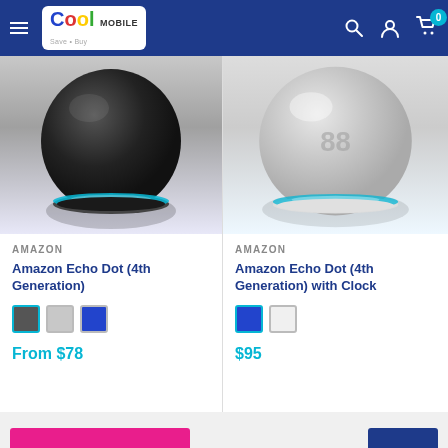Cool Mobile — navigation header with logo, search, account, and cart icons
[Figure (photo): Amazon Echo Dot 4th Generation in dark/charcoal color on white background, spherical shape with cyan ring at base]
AMAZON
Amazon Echo Dot (4th Generation)
From $78
[Figure (photo): Amazon Echo Dot 4th Generation with Clock in light gray/white color on white background, partially cropped]
AMAZON
Amazon Echo Dot (4th Generation) with Clock
$95